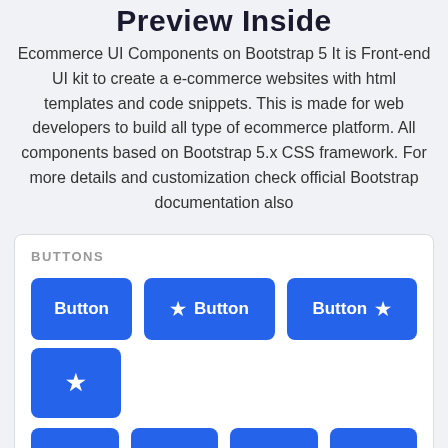Preview Inside
Ecommerce UI Components on Bootstrap 5 It is Front-end UI kit to create a e-commerce websites with html templates and code snippets. This is made for web developers to build all type of ecommerce platform. All components based on Bootstrap 5.x CSS framework. For more details and customization check official Bootstrap documentation also
BUTTONS
[Figure (screenshot): Blue UI buttons in various configurations: plain button, button with leading star icon, button with trailing star icon, icon-only button with star, and partial row of buttons at the bottom.]